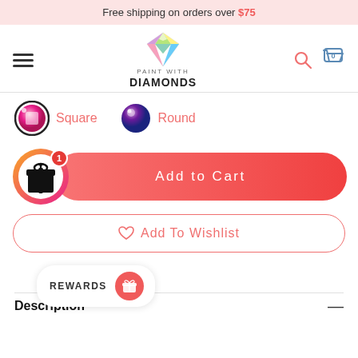Free shipping on orders over $75
[Figure (logo): Paint With Diamonds logo with colorful diamond gem and text 'PAINT WITH DIAMONDS']
[Figure (other): Square and Round diamond type selector icons with pink/purple gems and labels]
[Figure (other): Add to Cart button with gift icon circle (badge: 1) and red rounded button]
[Figure (other): Add To Wishlist outlined rounded button with heart icon]
[Figure (other): Rewards pill widget with label REWARDS and red gift icon]
Description